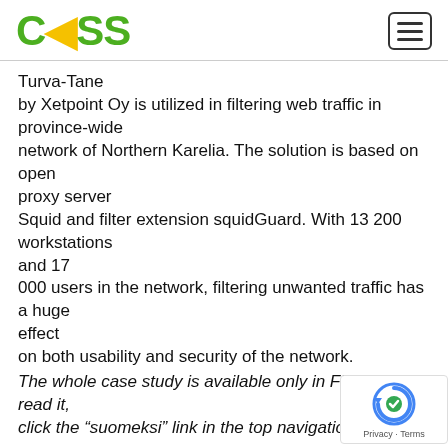COSS
Turva-Tane by Xetpoint Oy is utilized in filtering web traffic in province-wide network of Northern Karelia. The solution is based on open proxy server Squid and filter extension squidGuard. With 13 200 workstations and 17 000 users in the network, filtering unwanted traffic has a huge effect on both usability and security of the network. The whole case study is available only in Finnish. To read it, click the "suomeksi" link in the top navigation.
Linux succeeds at schools
22.09.2008  Uutiset